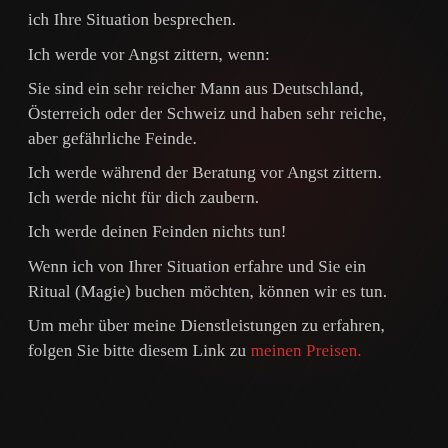ich Ihre Situation besprechen.
Ich werde vor Angst zittern, wenn:
Sie sind ein sehr reicher Mann aus Deutschland, Österreich oder der Schweiz und haben sehr reiche, aber gefährliche Feinde.
Ich werde während der Beratung vor Angst zittern. Ich werde nicht für dich zaubern.
Ich werde deinen Feinden nichts tun!
Wenn ich von Ihrer Situation erfahre und Sie ein Ritual (Magie) buchen möchten, können wir es tun.
Um mehr über meine Dienstleistungen zu erfahren, folgen Sie bitte diesem Link zu meinen Preisen.